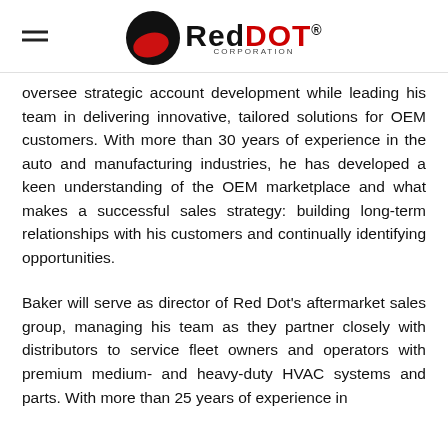RedDOT CORPORATION
oversee strategic account development while leading his team in delivering innovative, tailored solutions for OEM customers. With more than 30 years of experience in the auto and manufacturing industries, he has developed a keen understanding of the OEM marketplace and what makes a successful sales strategy: building long-term relationships with his customers and continually identifying opportunities.
Baker will serve as director of Red Dot's aftermarket sales group, managing his team as they partner closely with distributors to service fleet owners and operators with premium medium- and heavy-duty HVAC systems and parts. With more than 25 years of experience in